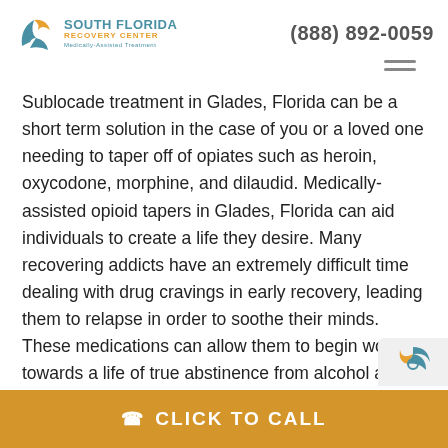SOUTH FLORIDA RECOVERY CENTER — Medically-Assisted Treatment | (888) 892-0059
Sublocade treatment in Glades, Florida can be a short term solution in the case of you or a loved one needing to taper off of opiates such as heroin, oxycodone, morphine, and dilaudid. Medically-assisted opioid tapers in Glades, Florida can aid individuals to create a life they desire. Many recovering addicts have an extremely difficult time dealing with drug cravings in early recovery, leading them to relapse in order to soothe their minds. These medications can allow them to begin working towards a life of true abstinence from alcohol and other mood or mind-altering substances.
CLICK TO CALL